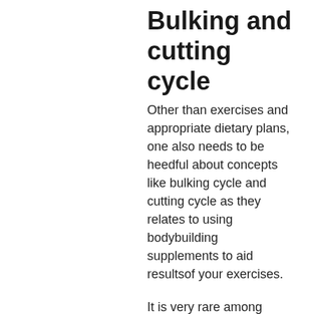Bulking and cutting cycle
Other than exercises and appropriate dietary plans, one also needs to be heedful about concepts like bulking cycle and cutting cycle as they relates to using bodybuilding supplements to aid resultsof your exercises.
It is very rare among those who are used to lifting weights and lifting a large amount of weight (more than 70kg) that they feel tired from lifting heavy weights and also, there could be some reason why these people are not feeling strong after working a lot of reps, bulking and cutting definition.
The purpose of bulking cycle is to make your muscles more bulky, strong and durable, so that you can work more